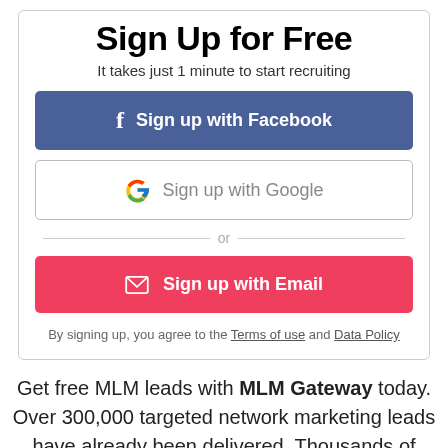Sign Up for Free
It takes just 1 minute to start recruiting
f  Sign up with Facebook
G  Sign up with Google
or
✉  Sign up with Email
By signing up, you agree to the Terms of use and Data Policy
Get free MLM leads with MLM Gateway today. Over 300,000 targeted network marketing leads have already been delivered. Thousands of people have build a profitable home-based